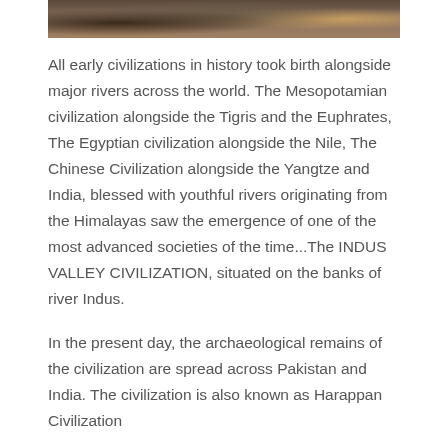[Figure (photo): Top portion of a photograph showing ancient rock or stone ruins, with dark brown and sandy/ochre tones, likely an archaeological site.]
All early civilizations in history took birth alongside major rivers across the world. The Mesopotamian civilization alongside the Tigris and the Euphrates, The Egyptian civilization alongside the Nile, The Chinese Civilization alongside the Yangtze and India, blessed with youthful rivers originating from the Himalayas saw the emergence of one of the most advanced societies of the time...The INDUS VALLEY CIVILIZATION, situated on the banks of river Indus.
In the present day, the archaeological remains of the civilization are spread across Pakistan and India. The civilization is also known as Harappan Civilization